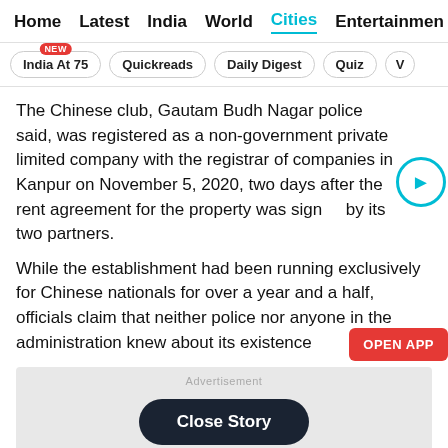Home  Latest  India  World  Cities  Entertainment
India At 75  NEW  Quickreads  Daily Digest  Quiz
The Chinese club, Gautam Budh Nagar police said, was registered as a non-government private limited company with the registrar of companies in Kanpur on November 5, 2020, two days after the rent agreement for the property was signed by its two partners.
While the establishment had been running exclusively for Chinese nationals for over a year and a half, officials claim that neither police nor anyone in the administration knew about its existence
[Figure (other): Advertisement area with Close Story button]
Close Story